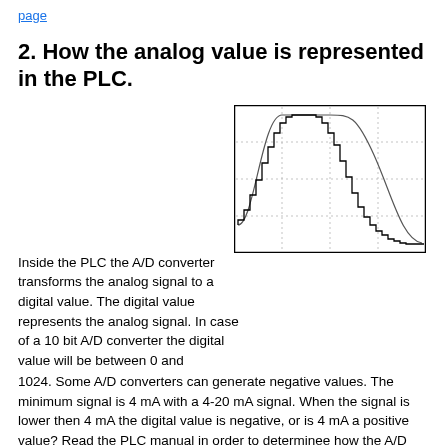page
2. How the analog value is represented in the PLC.
Inside the PLC the A/D converter transforms the analog signal to a digital value. The digital value represents the analog signal. In case of a 10 bit A/D converter the digital value will be between 0 and 1024. Some A/D converters can generate negative values. The minimum signal is 4 mA with a 4-20 mA signal. When the signal is lower then 4 mA the digital value is negative, or is 4 mA a positive value? Read the PLC manual in order to determinee how the A/D converter handles the negative value. Does the PLC handle this or do you need a correction in software. Also check on which address the value is available to the PLC program.
[Figure (continuous-plot): A digitized sine wave approximation showing a smooth analog signal overlaid with a stepped digital staircase approximation, illustrating A/D conversion quantization. Grid lines visible in background.]
In case you are not sure about the configuration it may be wise to build a test setup to check the configuration. With a current loop tester you can easily simulate the current on the analog input which